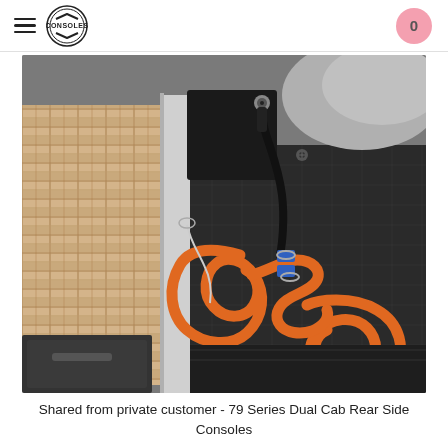Consoles (logo) | 0
[Figure (photo): Photo of coiled orange air hose/cable with metal fittings and blue connectors resting on a checker-plate floor mat inside a vehicle doorway, with brick paving visible outside]
Shared from private customer - 79 Series Dual Cab Rear Side Consoles